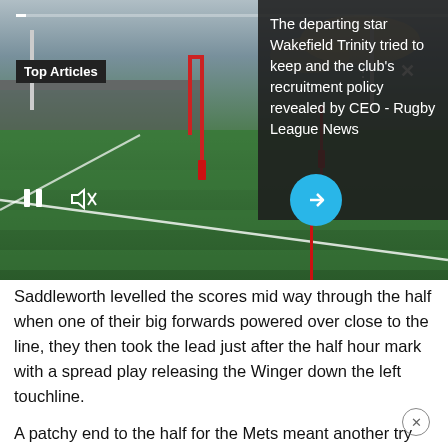[Figure (screenshot): Rugby league field photo with video player UI overlay showing 'Top Articles' label, pause/mute controls, a cyan arrow button, and a dark overlay with article headline on the right side.]
The departing star Wakefield Trinity tried to keep and the club's recruitment policy revealed by CEO - Rugby League News
Saddleworth levelled the scores mid way through the half when one of their big forwards powered over close to the line, they then took the lead just after the half hour mark with a spread play releasing the Winger down the left touchline.
A patchy end to the half for the Mets meant another try was scored by the Home side, which took the